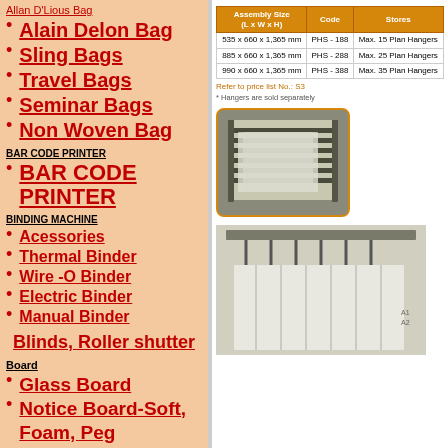Allan D'Lious Bag
Alain Delon Bag
Sling Bags
Travel Bags
Seminar Bags
Non Woven Bag
BAR CODE PRINTER
BAR CODE PRINTER
BINDING MACHINE
Acessories
Thermal Binder
Wire -O Binder
Electric Binder
Manual Binder
Blinds, Roller shutter
Board
Glass Board
Notice Board-Soft, Foam, Peg
Information Board
| Assembly Size (L x W x H) | Code | Stores |
| --- | --- | --- |
| 535 x 660 x 1,365 mm | PHS - 188 | Max. 15 Plan Hangers |
| 885 x 660 x 1,365 mm | PHS - 288 | Max. 25 Plan Hangers |
| 990 x 660 x 1,365 mm | PHS - 388 | Max. 35 Plan Hangers |
Refer to price list No.: S3
* Hangers are sold separately
[Figure (photo): Photo of plan hanger storage unit with multiple hanging arms, shown in a rounded orange-bordered box]
[Figure (photo): Photo of a plan hanger rack showing hanging documents/plans from metal arms]